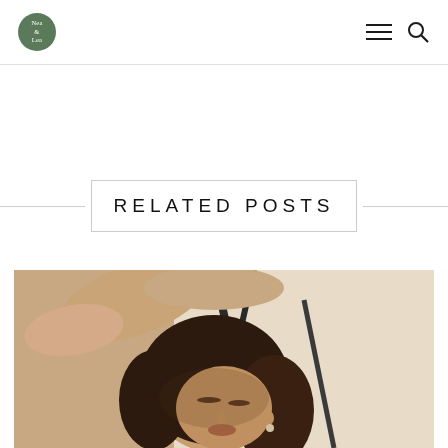Nea & Lea — navigation header with logo, menu, and search icons
RELATED POSTS
[Figure (photo): Close-up photo of a woman with long dark hair, eyes closed, tilting her head back with one arm raised above her head. Sunlight and shadows play across her face. Background shows geometric dark lines against a light wall.]